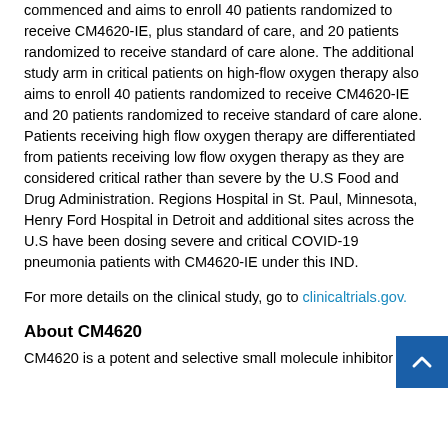commenced and aims to enroll 40 patients randomized to receive CM4620-IE, plus standard of care, and 20 patients randomized to receive standard of care alone. The additional study arm in critical patients on high-flow oxygen therapy also aims to enroll 40 patients randomized to receive CM4620-IE and 20 patients randomized to receive standard of care alone. Patients receiving high flow oxygen therapy are differentiated from patients receiving low flow oxygen therapy as they are considered critical rather than severe by the U.S Food and Drug Administration. Regions Hospital in St. Paul, Minnesota, Henry Ford Hospital in Detroit and additional sites across the U.S have been dosing severe and critical COVID-19 pneumonia patients with CM4620-IE under this IND.
For more details on the clinical study, go to clinicaltrials.gov.
About CM4620
CM4620 is a potent and selective small molecule inhibitor of